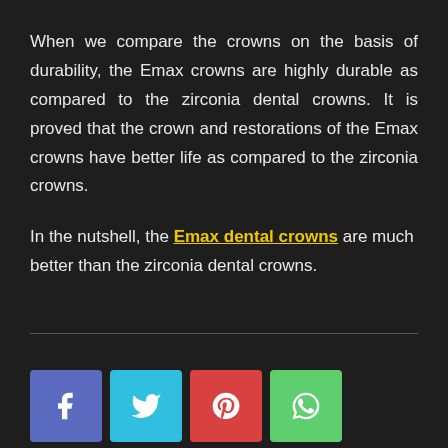When we compare the crowns on the basis of durability, the Emax crowns are highly durable as compared to the zirconia dental crowns. It is proved that the crown and restorations of the Emax crowns have better life as compared to the zirconia crowns.
In the nutshell, the Emax dental crowns are much better than the zirconia dental crowns.
[Figure (infographic): Social media share buttons: Facebook (blue-purple), Twitter (cyan), Pinterest (red), WhatsApp (green)]